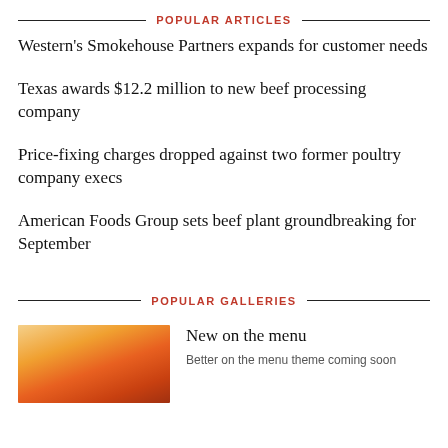POPULAR ARTICLES
Western's Smokehouse Partners expands for customer needs
Texas awards $12.2 million to new beef processing company
Price-fixing charges dropped against two former poultry company execs
American Foods Group sets beef plant groundbreaking for September
POPULAR GALLERIES
[Figure (photo): Food photo showing a dish with yellow/orange cooked food item]
New on the menu
Better on the menu theme coming soon